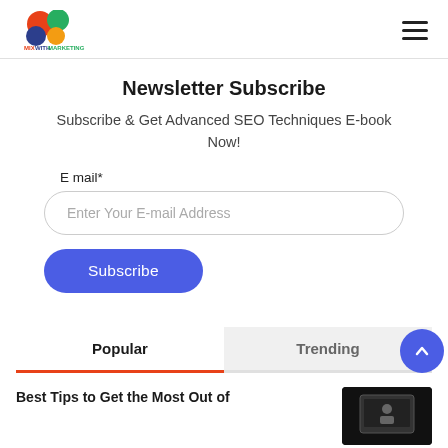MixWithMarketing logo and hamburger menu
Newsletter Subscribe
Subscribe & Get Advanced SEO Techniques E-book Now!
E mail*
Enter Your E-mail Address
Subscribe
Popular
Trending
Best Tips to Get the Most Out of